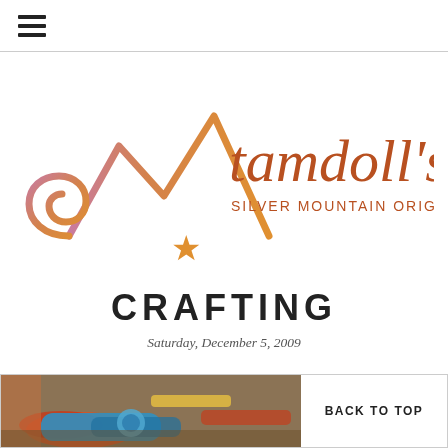[Figure (logo): tamdoll's Silver Mountain Originals logo — stylized mountain silhouette with a spiral curl and an orange star, gradient from pink/purple to orange, with text 'tamdoll's' in large serif font and 'SILVER MOUNTAIN ORIGINALS' in smaller caps below]
CRAFTING
Saturday, December 5, 2009
[Figure (photo): Partial photo of crafting supplies — colorful spools of thread/tape, scissors, and other craft items in a tray]
BACK TO TOP